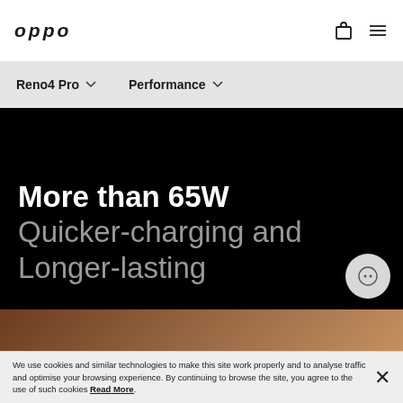OPPO
Reno4 Pro  Performance
More than 65W Quicker-charging and Longer-lasting
[Figure (screenshot): Dark hero banner with white bold text 'More than 65W' and grey text 'Quicker-charging and Longer-lasting' on black background with a partial brown/tan image at the bottom]
We use cookies and similar technologies to make this site work properly and to analyse traffic and optimise your browsing experience. By continuing to browse the site, you agree to the use of such cookies Read More.